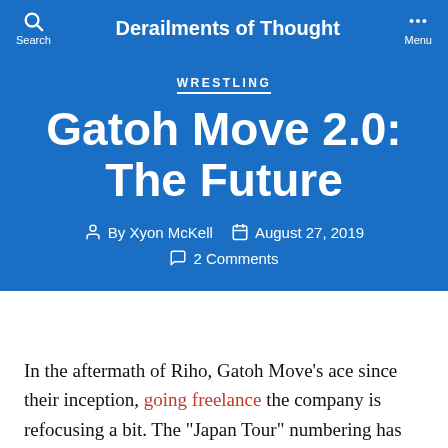Derailments of Thought
WRESTLING
Gatoh Move 2.0: The Future
By Xyon McKell  August 27, 2019
2 Comments
In the aftermath of Riho, Gatoh Move’s ace since their inception, going freelance the company is refocusing a bit. The “Japan Tour” numbering has now finished and